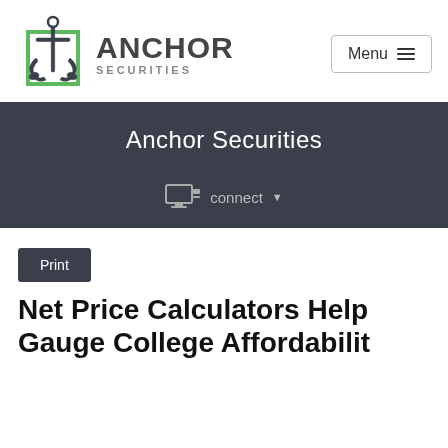[Figure (logo): Anchor Securities logo: anchor icon in a green square border, followed by bold text 'ANCHOR' with smaller 'SECURITIES' beneath]
Menu ≡
Anchor Securities
connect ▾
Print
Net Price Calculators Help Gauge College Affordability